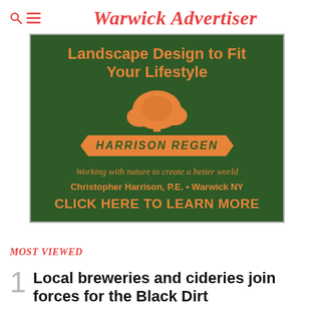Warwick Advertiser
[Figure (advertisement): Harrison Regen landscape design advertisement on dark green background. Text: Landscape Design to Fit Your Lifestyle, tree illustration, HARRISON REGEN logo on orange banner, Working with nature to create a better world, Christopher Harrison, P.E. · Warwick NY, CLICK HERE TO LEARN MORE]
MOST VIEWED
Local breweries and cideries join forces for the Black Dirt Beer Park